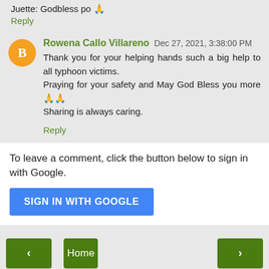Juette: Godbless po 🙏
Reply
Rowena Callo Villareno Dec 27, 2021, 3:38:00 PM
Thank you for your helping hands such a big help to all typhoon victims.
Praying for your safety and May God Bless you more🙏🙏
Sharing is always caring.
Reply
To leave a comment, click the button below to sign in with Google.
SIGN IN WITH GOOGLE
Home
View web version